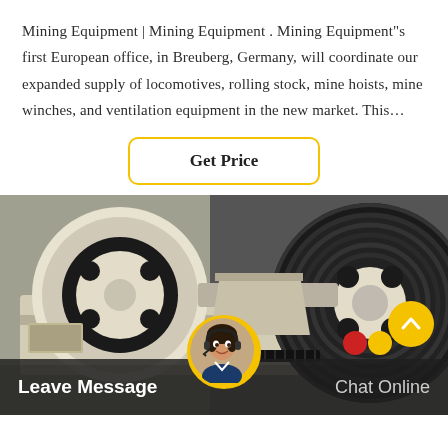Mining Equipment | Mining Equipment . Mining Equipment"s first European office, in Breuberg, Germany, will coordinate our expanded supply of locomotives, rolling stock, mine hoists, mine winches, and ventilation equipment in the new market. This…
[Figure (other): Yellow 'Get Price' button with rounded yellow border]
[Figure (photo): Industrial mining machinery with large black and white rubber wheels/pulleys on a jaw crusher or similar equipment]